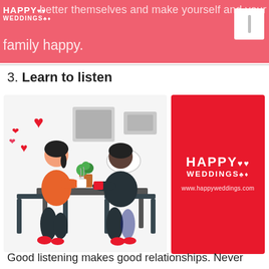better themselves and make yourself and your family happy.
3. Learn to listen
[Figure (illustration): Illustration of a couple sitting at a table having coffee, with red hearts floating above, a speech bubble with dots, and plants on the table. Indoor setting with a window and frames on the wall.]
[Figure (logo): Red card with Happy Weddings logo in white and URL www.happyweddings.com]
Good listening makes good relationships. Never